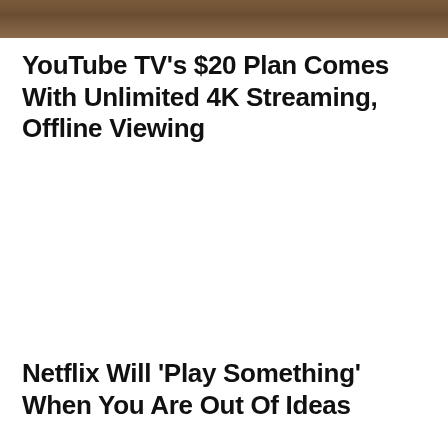[Figure (photo): Partial image strip at the top of the page, showing a dark brownish/warm-toned photograph, cropped to a narrow horizontal band.]
YouTube TV’s $20 Plan Comes With Unlimited 4K Streaming, Offline Viewing
Netflix Will ‘Play Something’ When You Are Out Of Ideas